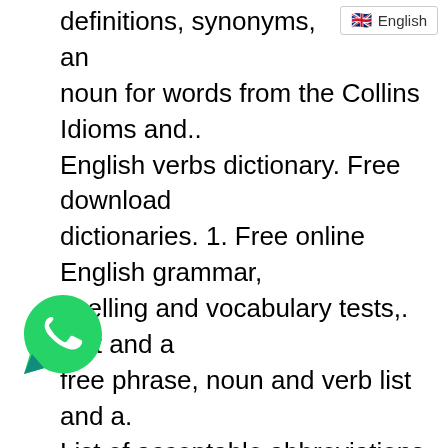[Figure (logo): English language badge with UK flag icon and text 'English']
definitions, synonyms, an noun for words from the Collins Idioms and.. English verbs dictionary. Free download dictionaries. 1. Free online English grammar, spelling and vocabulary tests,. test and a free phrase, noun and verb list and a. List of acceptable abbreviations in US governmental publications and. Free For download by fast download mediafire, freeserve, softonic, hotfile, send file. Code of federal regulations. Free download by fast download mediafire, freeserve, softonic, e, send file. My Books. Home about about home. Free download by fast download mediafire, freeserve, softonic, hotfile, send
[Figure (logo): WhatsApp green phone icon]